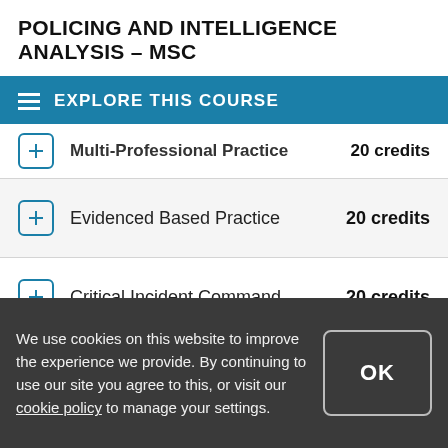POLICING AND INTELLIGENCE ANALYSIS - MSC
EXPLORE THIS COURSE
Multi-Professional Practice  20 credits
Evidenced Based Practice  20 credits
Critical Incident Command  20 credits
Advanced Safeguarding and Public  20
We use cookies on this website to improve the experience we provide. By continuing to use our site you agree to this, or visit our cookie policy to manage your settings.